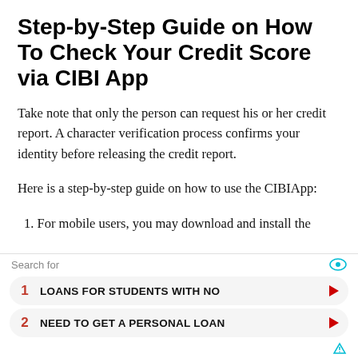Step-by-Step Guide on How To Check Your Credit Score via CIBI App
Take note that only the person can request his or her credit report. A character verification process confirms your identity before releasing the credit report.
Here is a step-by-step guide on how to use the CIBIApp:
1. For mobile users, you may download and install the
[Figure (infographic): Advertisement overlay with search bar reading 'Search for' with eye icon, two rows: 1) LOANS FOR STUDENTS WITH NO, 2) NEED TO GET A PERSONAL LOAN, each with red arrow. Small triangle icon at bottom right.]